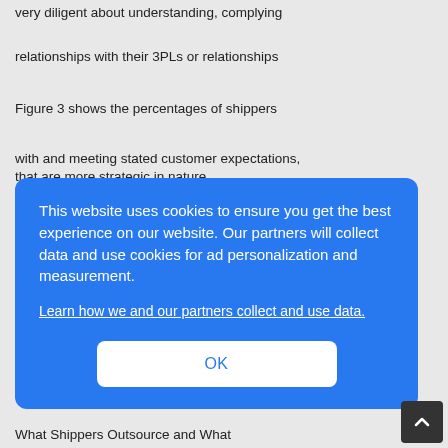very diligent about understanding, complying
relationships with their 3PLs or relationships
Figure 3 shows the percentages of shippers
with and meeting stated customer expectations,
that are more strategic in nature.
This website uses cookies to ensure you get the best experience on our website. Our partners will collect data and use cookies for ad personalization and measurement.
Learn how we and our partners collect and use data.
OK
What Shippers Outsource and What